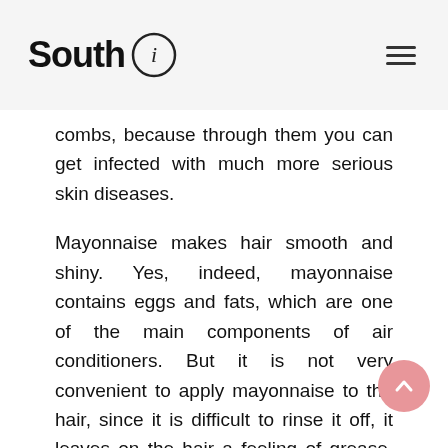South i
combs, because through them you can get infected with much more serious skin diseases.
Mayonnaise makes hair smooth and shiny. Yes, indeed, mayonnaise contains eggs and fats, which are one of the main components of air conditioners. But it is not very convenient to apply mayonnaise to the hair, since it is difficult to rinse it off, it leaves on the hair a feeling of grease, heaviness and the smell of a salad dressed with mayonnaise. Try conditioners that contain oils, vitamins, and egg yolk. They perfectly nourish and strengthen hair, make it shiny, and keep hair color longer.